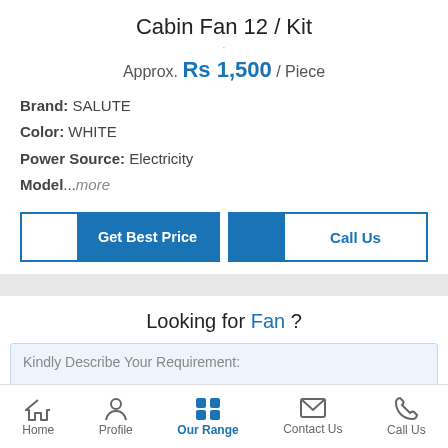Cabin Fan 12 / Kit
Approx. Rs 1,500 / Piece
Brand: SALUTE
Color: WHITE
Power Source: Electricity
Model...more
Get Best Price | Call Us
Looking for Fan ?
Kindly Describe Your Requirement:
Home  Profile  Our Range  Contact Us  Call Us